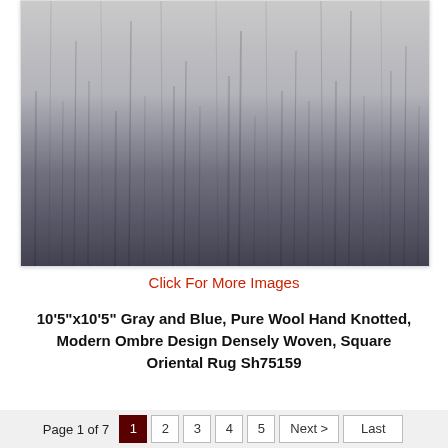[Figure (photo): Close-up photograph of a square oriental rug with modern ombre design. The rug transitions from light gray at the top to dark gray/blue-black at the bottom, with vertical streaks suggesting a hand-knotted, densely woven texture.]
Click For More Images
10'5"x10'5" Gray and Blue, Pure Wool Hand Knotted, Modern Ombre Design Densely Woven, Square Oriental Rug Sh75159
Page 1 of 7   1  2  3  4  5  Next >  Last